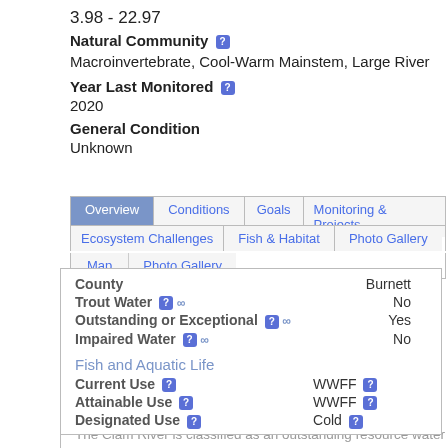3.98 - 22.97
Natural Community
Macroinvertebrate, Cool-Warm Mainstem, Large River
Year Last Monitored
2020
General Condition
Unknown
| Field | Value |
| --- | --- |
| County | Burnett |
| Trout Water | No |
| Outstanding or Exceptional | Yes |
| Impaired Water | No |
Fish and Aquatic Life
| Field | Value |
| --- | --- |
| Current Use | WWFF |
| Attainable Use | WWFF |
| Designated Use | Cold |
Historical Description
The Clam River is classified as an outstanding resource water with parts of the river being class